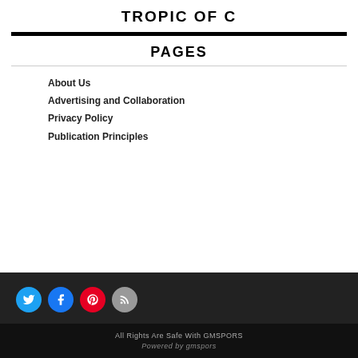TROPIC OF C
PAGES
About Us
Advertising and Collaboration
Privacy Policy
Publication Principles
[Figure (other): Social media icons: Twitter (blue), Facebook (blue), Pinterest (red), RSS (gray)]
All Rights Are Safe With GMSPORS
Powered by gmspors